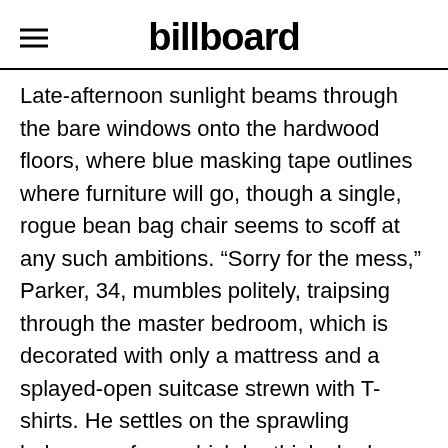billboard
Late-afternoon sunlight beams through the bare windows onto the hardwood floors, where blue masking tape outlines where furniture will go, though a single, rogue bean bag chair seems to scoff at any such ambitions. “Sorry for the mess,” Parker, 34, mumbles politely, traipsing through the master bedroom, which is decorated with only a mattress and a splayed-open suitcase strewn with T-shirts. He settles on the sprawling balcony — from which he thinks he has glimpsed Brad Pitt taking walks on the hill below — to watch the sunset, a half-finished bottle of Corona in hand. There’s a bedsheet mangled on the outdoor sofa, as if someone recently slept under the stars. “It has taken us a while to get around to furniture,” says Parker. (He married Sophie